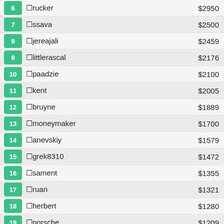6 □rucker $2950
7 □ssava $2500
8 □jereajali $2459
9 □littlerascal $2176
10 □paadzie $2100
11 □kent $2005
12 □bruyne $1889
13 □moneymaker $1700
14 □anevskiy $1579
15 □grek8310 $1472
16 □sament $1355
17 □ruan $1321
18 □herbert $1280
19 □porsche $1209
20 □ttarrass $1104
TOP INVESTORS LAST MONTH
1 □rucker $28851